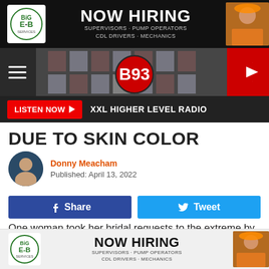[Figure (infographic): NOW HIRING advertisement banner for Big E-B Services showing logo, text 'SUPERVISORS · PUMP OPERATORS CDL DRIVERS · MECHANICS' and person in hard hat]
[Figure (logo): B93 radio station navigation bar with hamburger menu, B93 logo, and red play button]
[Figure (infographic): LISTEN NOW button with play arrow and XXL HIGHER LEVEL RADIO text on dark background]
DUE TO SKIN COLOR
Donny Meacham
Published: April 13, 2022
[Figure (infographic): Share and Tweet social media buttons]
One woman took her bridal requests to the extreme by demanding her bridesmaids give her a hefty "donation" for her honeymoon, lose weight to fit a certain dress size and wear their nails and hair a very specific way.
[Figure (infographic): NOW HIRING advertisement banner for Big E-B Services at bottom of page]